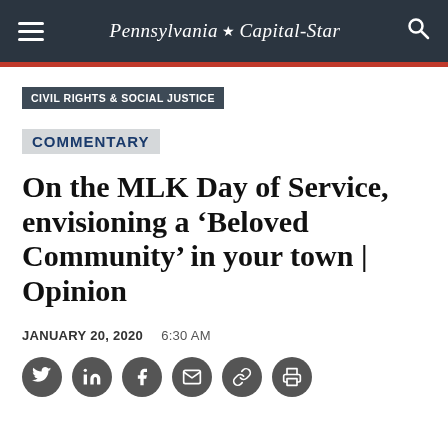Pennsylvania Capital-Star
CIVIL RIGHTS & SOCIAL JUSTICE
COMMENTARY
On the MLK Day of Service, envisioning a ‘Beloved Community’ in your town | Opinion
JANUARY 20, 2020   6:30 AM